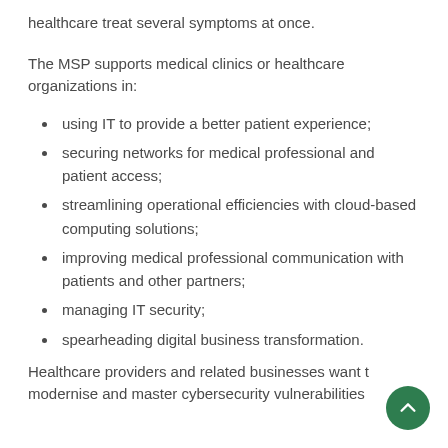healthcare treat several symptoms at once.
The MSP supports medical clinics or healthcare organizations in:
using IT to provide a better patient experience;
securing networks for medical professional and patient access;
streamlining operational efficiencies with cloud-based computing solutions;
improving medical professional communication with patients and other partners;
managing IT security;
spearheading digital business transformation.
Healthcare providers and related businesses want to modernise and master cybersecurity vulnerabilities